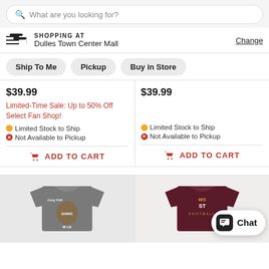What are you looking for?
SHOPPING AT
Dulles Town Center Mall
Change
Ship To Me
Pickup
Buy in Store
$39.99
Limited-Time Sale: Up to 50% Off Select Fan Shop!
Limited Stock to Ship
Not Available to Pickup
ADD TO CART
$39.99
Limited Stock to Ship
Not Available to Pickup
ADD TO CART
[Figure (photo): Grey t-shirt with DAWG WALK text and mascot graphic]
[Figure (photo): Maroon Mississippi State Football t-shirt with Chat button overlay]